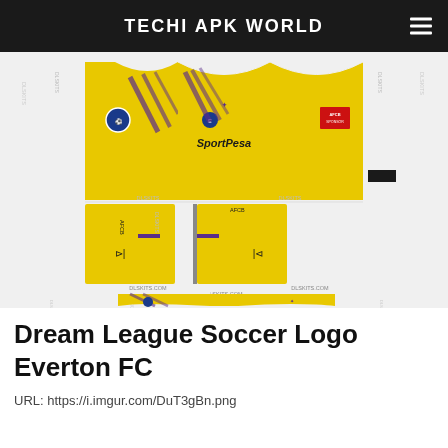TECHI APK WORLD
[Figure (illustration): Everton FC yellow goalkeeper kit template for Dream League Soccer showing shirt panels, shorts, and socks spread flat with DLSKITS.COM watermarks, SportPesa sponsor, Everton crest, Umbro logo, and AFCB text on sleeves.]
Dream League Soccer Logo Everton FC
URL: https://i.imgur.com/DuT3gBn.png